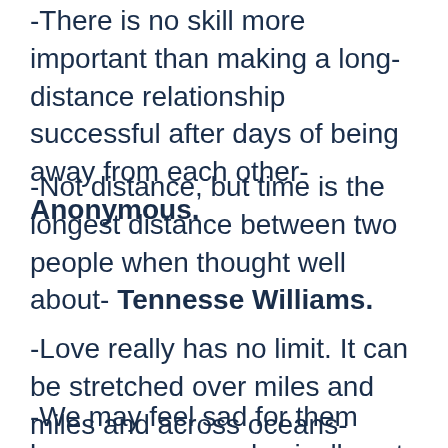-There is no skill more important than making a long-distance relationship successful after days of being away from each other- Anonymous.
-Not distance, but time is the longest distance between two people when thought well about- Tennesse Williams.
-Love really has no limit. It can be stretched over miles and miles and across oceans- Anonymous.
-We may feel sad for them because we are physically not close enough. But it is